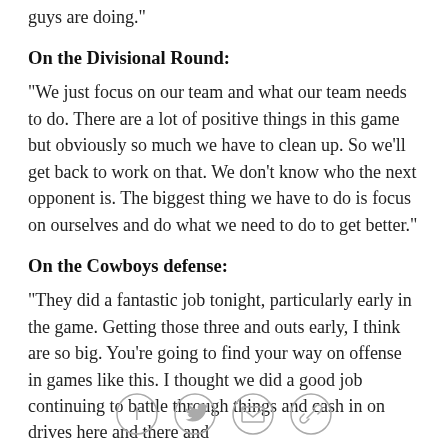guys are doing."
On the Divisional Round:
"We just focus on our team and what our team needs to do. There are a lot of positive things in this game but obviously so much we have to clean up. So we'll get back to work on that. We don't know who the next opponent is. The biggest thing we have to do is focus on ourselves and do what we need to do to get better."
On the Cowboys defense:
"They did a fantastic job tonight, particularly early in the game. Getting those three and outs early, I think are so big. You're going to find your way on offense in games like this. I thought we did a good job continuing to battle through things and cash in on drives here and there and
[Figure (other): Social sharing icons: Facebook, Twitter, email, and link/copy icon in circular outlines]